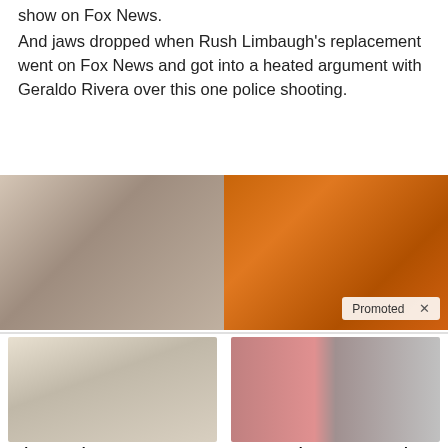show on Fox News.
And jaws dropped when Rush Limbaugh’s replacement went on Fox News and got into a heated argument with Geraldo Rivera over this one police shooting.
[Figure (photo): Two side-by-side advertisement images: left shows a woman in a white tank top looking down, right shows a metal spoon filled with orange spices. A 'Promoted X' badge is visible in the bottom-right corner.]
[Figure (photo): Luxury SUV interior showing cream leather seats and entertainment screens]
Take A Peek At 2022’s Best SUVs For Seniors
🔥 3,825
[Figure (photo): Side-by-side photos of Jen Psaki (woman with red hair in red top) and Donald Trump]
Most People Don’t Know These Facts About Jen Psaki (#2 Is Shocking!)
🔥 47,238